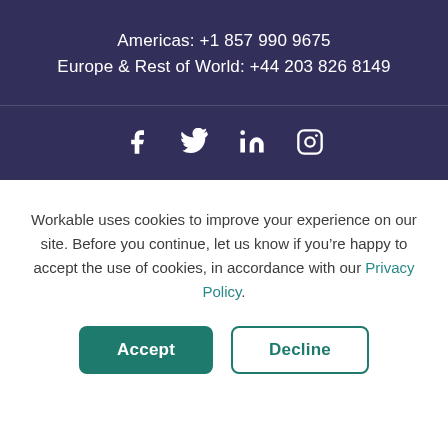Americas: +1 857 990 9675
Europe & Rest of World: +44 203 826 8149
[Figure (other): Social media icons: Facebook, Twitter, LinkedIn, Instagram]
Workable uses cookies to improve your experience on our site. Before you continue, let us know if you’re happy to accept the use of cookies, in accordance with our Privacy Policy.
Accept
Decline